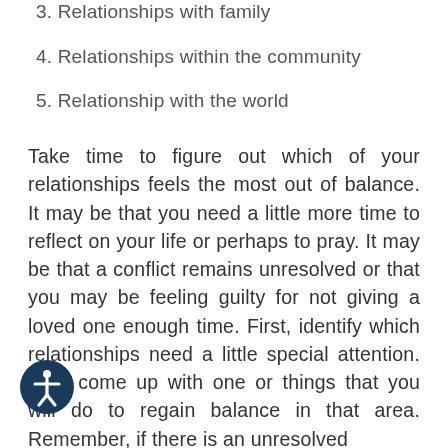3. Relationships with family
4. Relationships within the community
5. Relationship with the world
Take time to figure out which of your relationships feels the most out of balance. It may be that you need a little more time to reflect on your life or perhaps to pray. It may be that a conflict remains unresolved or that you may be feeling guilty for not giving a loved one enough time. First, identify which relationships need a little special attention. Next come up with one or things that you will do to regain balance in that area. Remember, if there is an unresolved